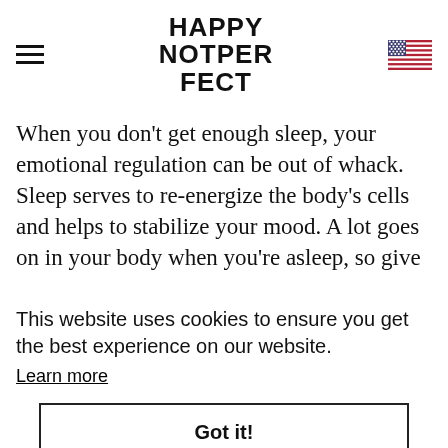HAPPY NOTPERFECT
When you don't get enough sleep, your emotional regulation can be out of whack. Sleep serves to re-energize the body's cells and helps to stabilize your mood. A lot goes on in your body when you're asleep, so give
This website uses cookies to ensure you get the best experience on our website.
Learn more
Got it!
This may sound very “self-love”, which we